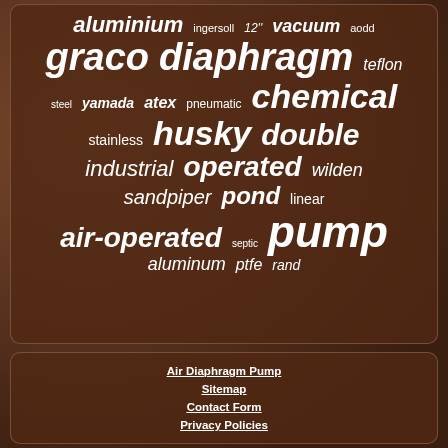[Figure (infographic): Tag cloud on dark brown background with words: aluminium, ingersoll, 12'', vacuum, aodd, graco, diaphragm, teflon, steel, yamada, atex, pneumatic, chemical, stainless, husky, double, industrial, operated, wilden, sandpiper, pond, linear, air-operated, septic, pump, aluminum, ptfe, rand]
Air Diaphragm Pump
Sitemap
Contact Form
Privacy Policies